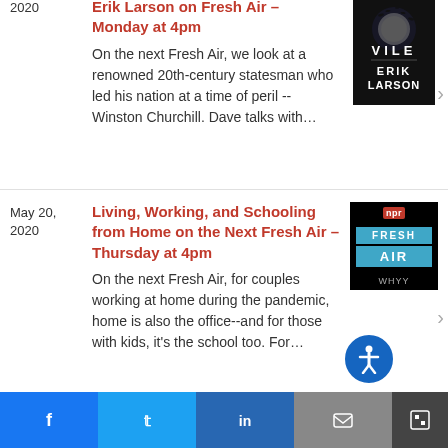Erik Larson on Fresh Air – Monday at 4pm
On the next Fresh Air, we look at a renowned 20th-century statesman who led his nation at a time of peril -- Winston Churchill. Dave talks with...
May 20, 2020
Living, Working, and Schooling from Home on the Next Fresh Air – Thursday at 4pm
On the next Fresh Air, for couples working at home during the pandemic, home is also the office--and for those with kids, it's the school too. For...
May 19, 2020
Reporting on American Surveillance Programs with Journalist Bart Gellman on